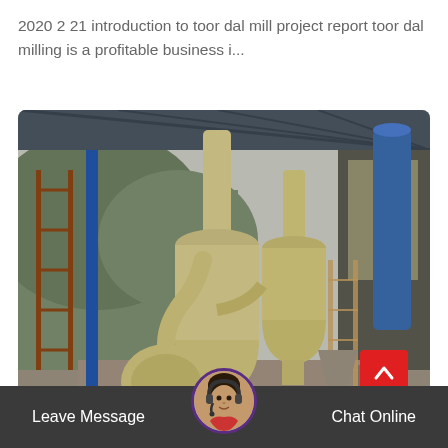2020 2 21 introduction to toor dal mill project report toor dal milling is a profitable business i...
[Figure (photo): Industrial milling facility interior showing large yellow conical/cylindrical grinding mill machines with pipes and conveyors, inside a metal-roofed building with green hills visible in the background and a blue cylindrical structure on the right.]
Leave Message
Chat Online